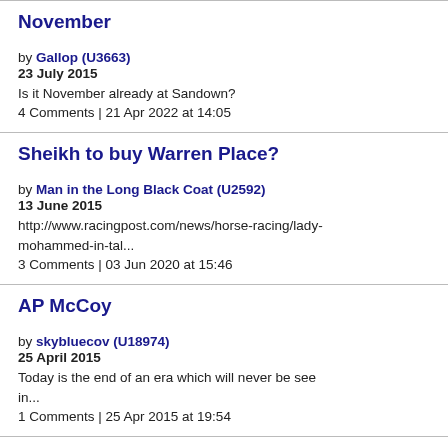November
by Gallop (U3663)
23 July 2015
Is it November already at Sandown?
4 Comments | 21 Apr 2022 at 14:05
Sheikh to buy Warren Place?
by Man in the Long Black Coat (U2592)
13 June 2015
http://www.racingpost.com/news/horse-racing/lady-mohammed-in-tal...
3 Comments | 03 Jun 2020 at 15:46
AP McCoy
by skybluecov (U18974)
25 April 2015
Today is the end of an era which will never be see in...
1 Comments | 25 Apr 2015 at 19:54
Not606 – Cloutier
by GazBroooooom (U18896)